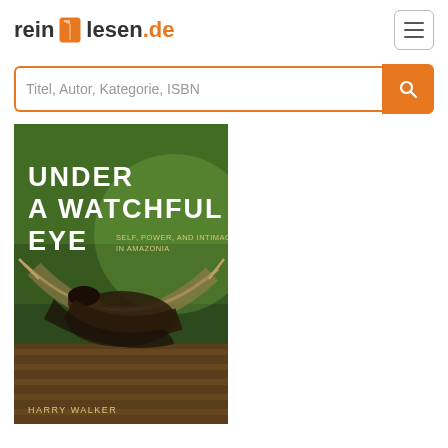[Figure (logo): reinlesen.de logo with orange book icon]
[Figure (screenshot): Hamburger menu button (three horizontal lines in a rounded rectangle)]
Titel, Autor, Kategorie, ISBN
[Figure (photo): Book cover: 'Under a Watchful Eye: Self, Power, and Intimacy in Amazonia' by Harry Walker. Green background with a person lying in a hammock.]